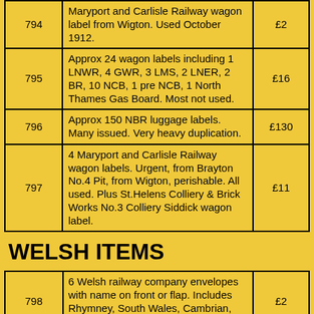| Lot | Description | Price |
| --- | --- | --- |
| 794 | Maryport and Carlisle Railway wagon label from Wigton. Used October 1912. | £2 |
| 795 | Approx 24 wagon labels including 1 LNWR, 4 GWR, 3 LMS, 2 LNER, 2 BR, 10 NCB, 1 pre NCB, 1 North Thames Gas Board. Most not used. | £16 |
| 796 | Approx 150 NBR luggage labels. Many issued. Very heavy duplication. | £130 |
| 797 | 4 Maryport and Carlisle Railway wagon labels. Urgent, from Brayton No.4 Pit, from Wigton, perishable. All used. Plus St.Helens Colliery & Brick Works No.3 Colliery Siddick wagon label. | £11 |
WELSH ITEMS
| Lot | Description | Price |
| --- | --- | --- |
| 798 | 6 Welsh railway company envelopes with name on front or flap. Includes Rhymney, South Wales, Cambrian, TVR, etc. Some used. | £2 |
| 799 | Cardiff Penarth and Barry Junction Railways notice to owners, lessees and occupiers re property of the TVR affected... | £110 |